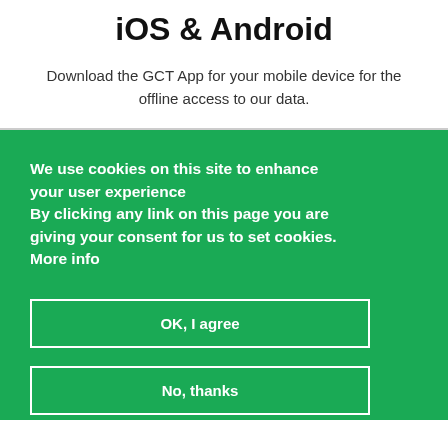iOS & Android
Download the GCT App for your mobile device for the offline access to our data.
We use cookies on this site to enhance your user experience By clicking any link on this page you are giving your consent for us to set cookies. More info
OK, I agree
No, thanks